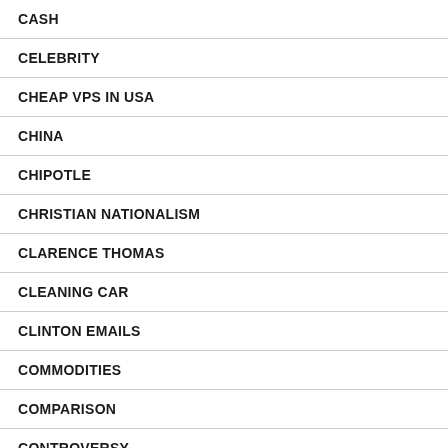CASH
CELEBRITY
CHEAP VPS IN USA
CHINA
CHIPOTLE
CHRISTIAN NATIONALISM
CLARENCE THOMAS
CLEANING CAR
CLINTON EMAILS
COMMODITIES
COMPARISON
CONTROVERSY